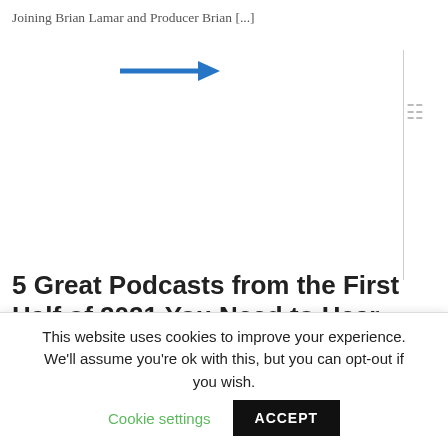Joining Brian Lamar and Producer Brian [...]
[Figure (other): Blue right-pointing arrow]
5 Great Podcasts from the First Half of 2021 You Need to Hear
The market research industry has had plenty to talk about in 2021. From discussions on data quality to shifts in supply and demand, there has been [...]
[Figure (other): Blue right-pointing arrow]
This website uses cookies to improve your experience. We'll assume you're ok with this, but you can opt-out if you wish. Cookie settings ACCEPT